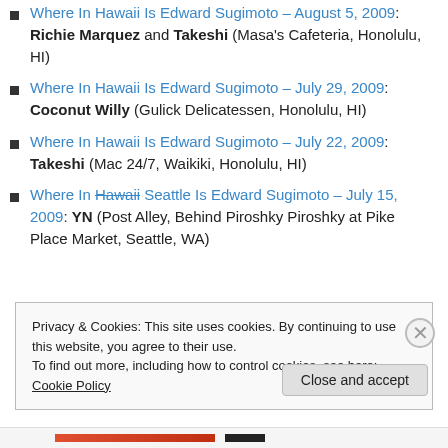Where In Hawaii Is Edward Sugimoto – August 5, 2009: Richie Marquez and Takeshi (Masa's Cafeteria, Honolulu, HI)
Where In Hawaii Is Edward Sugimoto – July 29, 2009: Coconut Willy (Gulick Delicatessen, Honolulu, HI)
Where In Hawaii Is Edward Sugimoto – July 22, 2009: Takeshi (Mac 24/7, Waikiki, Honolulu, HI)
Where In Hawaii Seattle Is Edward Sugimoto – July 15, 2009: YN (Post Alley, Behind Piroshky Piroshky at Pike Place Market, Seattle, WA)
Privacy & Cookies: This site uses cookies. By continuing to use this website, you agree to their use. To find out more, including how to control cookies, see here: Cookie Policy